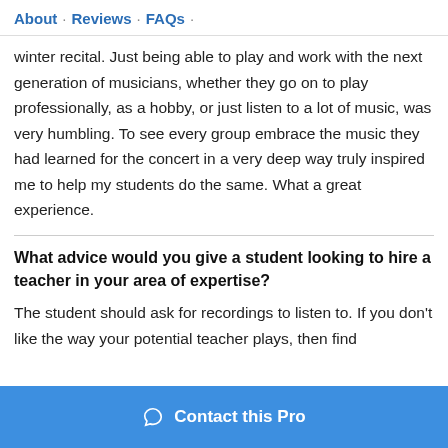About · Reviews · FAQs ·
winter recital. Just being able to play and work with the next generation of musicians, whether they go on to play professionally, as a hobby, or just listen to a lot of music, was very humbling. To see every group embrace the music they had learned for the concert in a very deep way truly inspired me to help my students do the same. What a great experience.
What advice would you give a student looking to hire a teacher in your area of expertise?
The student should ask for recordings to listen to. If you don't like the way your potential teacher plays, then find